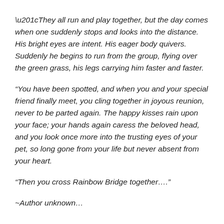“They all run and play together, but the day comes when one suddenly stops and looks into the distance. His bright eyes are intent. His eager body quivers. Suddenly he begins to run from the group, flying over the green grass, his legs carrying him faster and faster.
“You have been spotted, and when you and your special friend finally meet, you cling together in joyous reunion, never to be parted again. The happy kisses rain upon your face; your hands again caress the beloved head, and you look once more into the trusting eyes of your pet, so long gone from your life but never absent from your heart.
“Then you cross Rainbow Bridge together….”
~Author unknown…